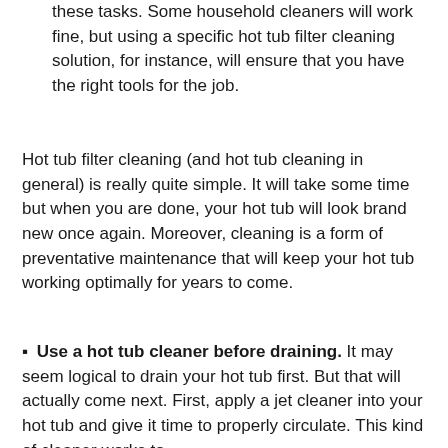these tasks. Some household cleaners will work fine, but using a specific hot tub filter cleaning solution, for instance, will ensure that you have the right tools for the job.
Hot tub filter cleaning (and hot tub cleaning in general) is really quite simple. It will take some time but when you are done, your hot tub will look brand new once again. Moreover, cleaning is a form of preventative maintenance that will keep your hot tub working optimally for years to come.
▪ Use a hot tub cleaner before draining. It may seem logical to drain your hot tub first. But that will actually come next. First, apply a jet cleaner into your hot tub and give it time to properly circulate. This kind of cleaner works to